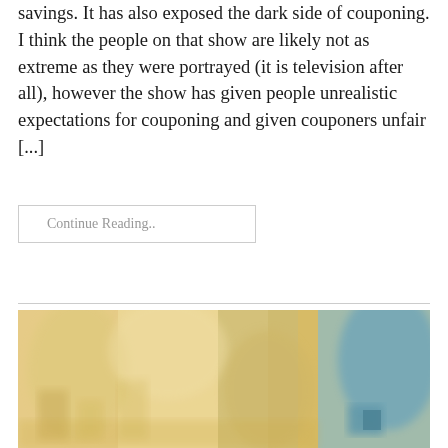savings. It has also exposed the dark side of couponing. I think the people on that show are likely not as extreme as they were portrayed (it is television after all), however the show has given people unrealistic expectations for couponing and given couponers unfair [...]
Continue Reading..
[Figure (photo): Blurred photo of a shopping/grocery store aisle scene with warm yellow tones and a blue element on the right side, showing coupons or items being handled]